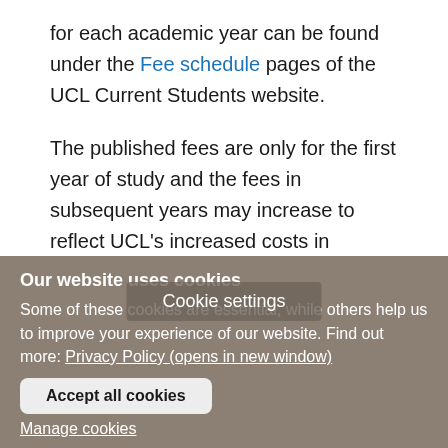for each academic year can be found under the Fee schedule pages of the UCL Current Students website.
The published fees are only for the first year of study and the fees in subsequent years may increase to reflect UCL's increased costs in delivering the programme, such as operational costs, market forces and inflation: any increase in fees for subsequent years of the programme w... per year. You should make provisi... ases and this is
Cookie settings
Our website uses cookies
Some of these cookies are essential, while others help us to improve your experience of our website. Find out more: Privacy Policy (opens in new window)
Accept all cookies
Manage cookies